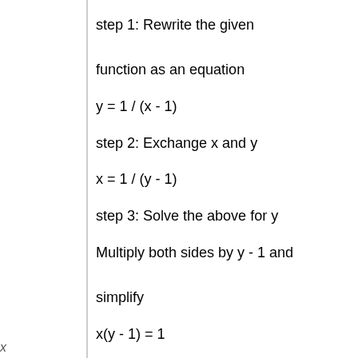step 1: Rewrite the given function as an equation
y = 1 / (x - 1)
step 2: Exchange x and y
x = 1 / (y - 1)
step 3: Solve the above for y
Multiply both sides by y - 1 and simplify
x(y - 1) = 1